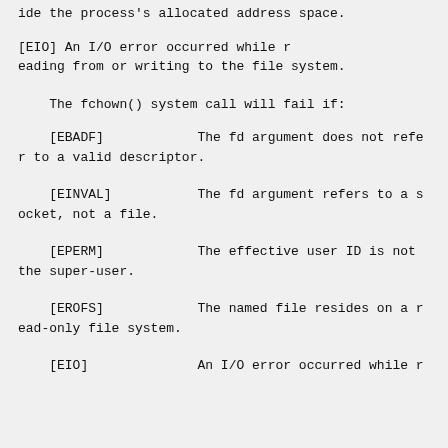ide the process's allocated address space.
[EIO]              An I/O error occurred while reading from or writing to the file system.
The fchown() system call will fail if:
[EBADF]            The fd argument does not refer to a valid descriptor.
[EINVAL]           The fd argument refers to a socket, not a file.
[EPERM]            The effective user ID is not the super-user.
[EROFS]            The named file resides on a read-only file system.
[EIO]              An I/O error occurred while r